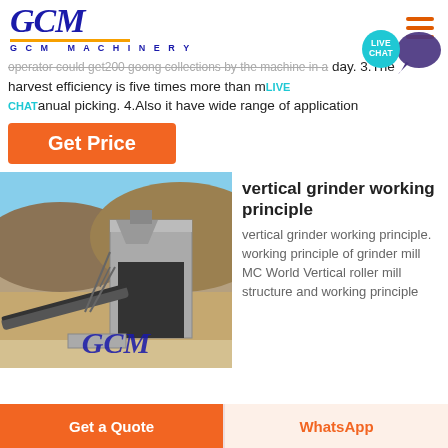GCM MACHINERY
operator could get 200 goong collections by the machine in a day. 3.The harvest efficiency is five times more than manual picking. 4.Also it have wide range of application
Get Price
[Figure (photo): Outdoor industrial mining/crushing facility with large concrete structure, conveyor belt, machinery, mountainous background. GCM watermark logo at bottom.]
vertical grinder working principle
vertical grinder working principle. working principle of grinder mill MC World Vertical roller mill structure and working principle
Get a Quote
WhatsApp